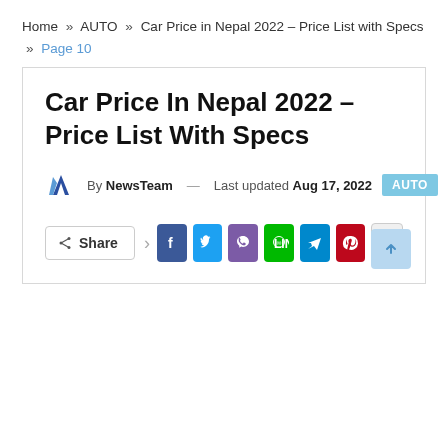Home » AUTO » Car Price in Nepal 2022 – Price List with Specs » Page 10
Car Price In Nepal 2022 – Price List With Specs
By NewsTeam — Last updated Aug 17, 2022  AUTO
[Figure (infographic): Social share buttons row: Share button, Facebook, Twitter, Viber, Line, Telegram, Pinterest, More (+)]